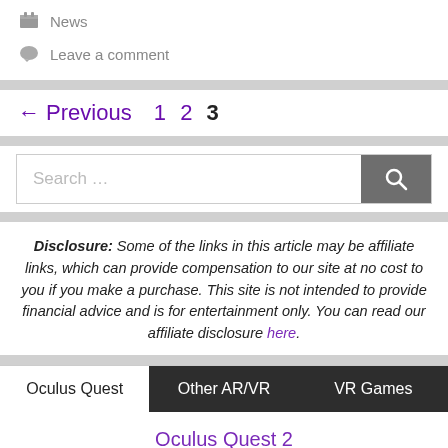News
Leave a comment
← Previous  1  2  3
[Figure (other): Search bar with text input and search button icon]
Disclosure: Some of the links in this article may be affiliate links, which can provide compensation to our site at no cost to you if you make a purchase. This site is not intended to provide financial advice and is for entertainment only. You can read our affiliate disclosure here.
Oculus Quest   Other AR/VR   VR Games
Oculus Quest 2